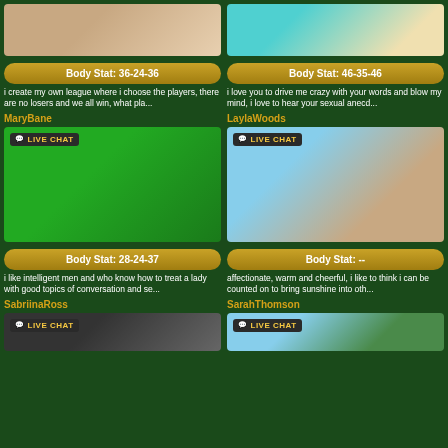[Figure (photo): Top-left profile photo cropped showing torso]
[Figure (photo): Top-right profile photo cropped showing person in colorful outfit]
Body Stat: 36-24-36
Body Stat: 46-35-46
i create my own league where i choose the players, there are no losers and we all win, what pla...
i love you to drive me crazy with your words and blow my mind, i love to hear your sexual anecd...
MaryBane
LaylaWoods
[Figure (photo): MaryBane live chat - person in elf costume against green screen background]
[Figure (photo): LaylaWoods live chat - person posing outdoors]
Body Stat: 28-24-37
Body Stat: --
i like intelligent men and who know how to treat a lady with good topics of conversation and se...
affectionate, warm and cheerful, i like to think i can be counted on to bring sunshine into oth...
SabriinaRoss
SarahThomson
[Figure (photo): SabriinaRoss live chat - partially visible]
[Figure (photo): SarahThomson live chat - partially visible]